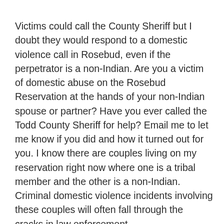Victims could call the County Sheriff but I doubt they would respond to a domestic violence call in Rosebud, even if the perpetrator is a non-Indian. Are you a victim of domestic abuse on the Rosebud Reservation at the hands of your non-Indian spouse or partner? Have you ever called the Todd County Sheriff for help? Email me to let me know if you did and how it turned out for you. I know there are couples living on my reservation right now where one is a tribal member and the other is a non-Indian. Criminal domestic violence incidents involving these couples will often fall through the cracks in law enforcement.